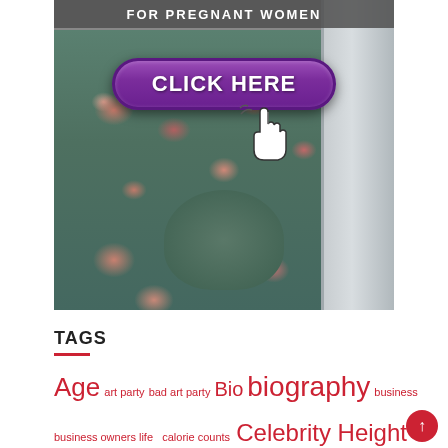[Figure (photo): Advertisement image showing a pregnant woman in a floral dress with a purple 'CLICK HERE' button overlay and cursor hand icon. Text at top partially visible reads 'FOR PREGNANT WOMEN'.]
TAGS
Age  art party  bad art party  Bio  biography  business  business owners life  calorie counts  Celebrity Height